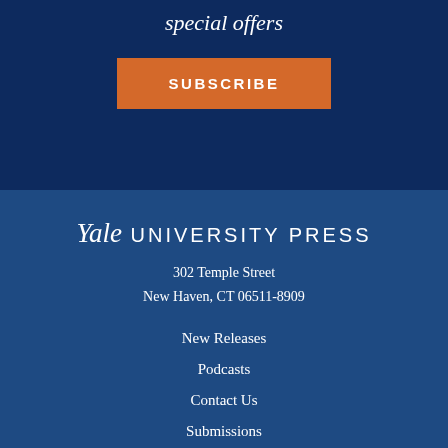special offers
SUBSCRIBE
[Figure (logo): Yale University Press logo text]
302 Temple Street
New Haven, CT 06511-8909
New Releases
Podcasts
Contact Us
Submissions